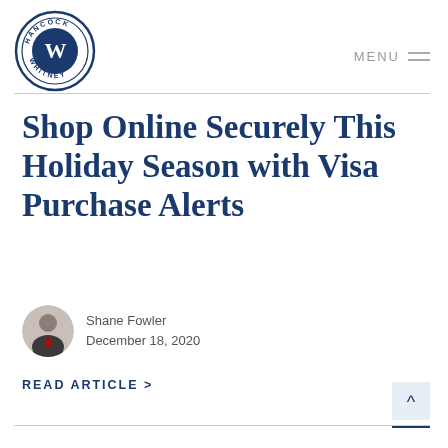[Figure (logo): Hancock Whitney bank circular logo with 'H' monogram]
MENU
Shop Online Securely This Holiday Season with Visa Purchase Alerts
Shane Fowler
December 18, 2020
READ ARTICLE >